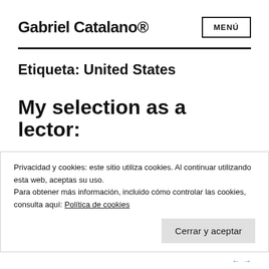Gabriel Catalano®
Etiqueta: United States
My selection as a lector:
Privacidad y cookies: este sitio utiliza cookies. Al continuar utilizando esta web, aceptas su uso.
Para obtener más información, incluido cómo controlar las cookies, consulta aquí: Política de cookies
Cerrar y aceptar